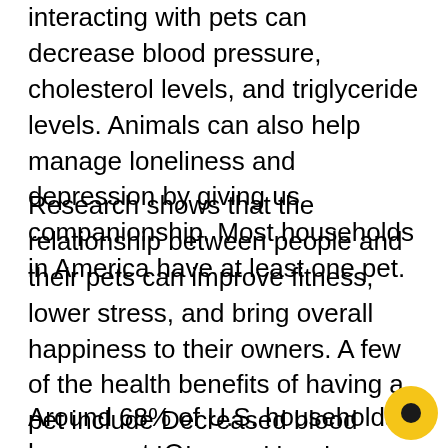interacting with pets can decrease blood pressure, cholesterol levels, and triglyceride levels. Animals can also help manage loneliness and depression by giving us companionship. Most households in America have at least one pet.
Research shows that the relationship between people and their pets can improve fitness, lower stress, and bring overall happiness to their owners. A few of the health benefits of having a pet include Decreased blood pressure, cholesterol levels, triglyceride levels, feelings of loneliness, opportunities for exercise and outdoor activities, and opportunities for socialization.
Around 68% of U.S. households have a pet. Overall having a pet throughout the process of drug abuse